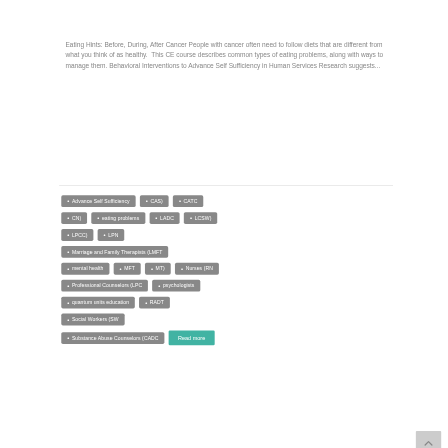Eating Hints: Before, During, After Cancer People with cancer often need to follow diets that are different from what you think of as healthy.  This CE course describes common types of eating problems, along with ways to manage them. Behavioral Interventions to Advance Self Sufficiency in Human Services Research suggests...
Advance Self Sufficiency
CAS)
CATC
CN)
eating problems
LADC
LCSW)
LPCC)
LPN
Marriage and Family Therapists (LMFT
mental health
MFT
MT)
Nurses (RN
Professional Counselors (LPC
psychologists
quantum units education
RADT
Social Workers (SW
Substance Abuse Counselors (CADC